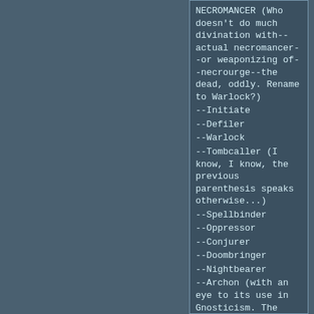NECROMANCER (Who doesn't do much divination with--actual necromancer--or weaponizing of--necrourge--the dead, oddly. Rename to Warlock?)
--Initiate
--Defiler
--Warlock
--Tombcaller (I know, I know, the previous parenthesis speaks otherwise...)
--Spellbinder
--Oppressor
--Conjurer
--Doombringer
--Nightbearer
--Archon (with an eye to its use in Gnosticism. The archons--or rather, archontes theoi/ruling gods--were the animalistic and cruel true creators of the physical/hylic world, as opposed to the original,